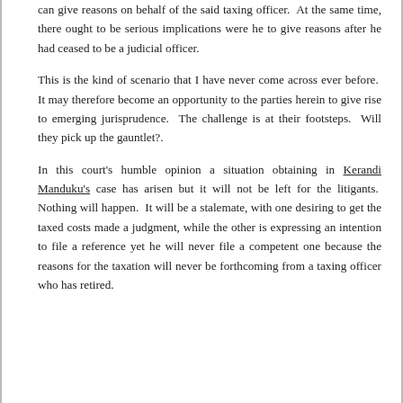can give reasons on behalf of the said taxing officer.  At the same time, there ought to be serious implications were he to give reasons after he had ceased to be a judicial officer.
This is the kind of scenario that I have never come across ever before.  It may therefore become an opportunity to the parties herein to give rise to emerging jurisprudence.  The challenge is at their footsteps.  Will they pick up the gauntlet?.
In this court's humble opinion a situation obtaining in Kerandi Manduku's case has arisen but it will not be left for the litigants.  Nothing will happen.  It will be a stalemate, with one desiring to get the taxed costs made a judgment, while the other is expressing an intention to file a reference yet he will never file a competent one because the reasons for the taxation will never be forthcoming from a taxing officer who has retired.